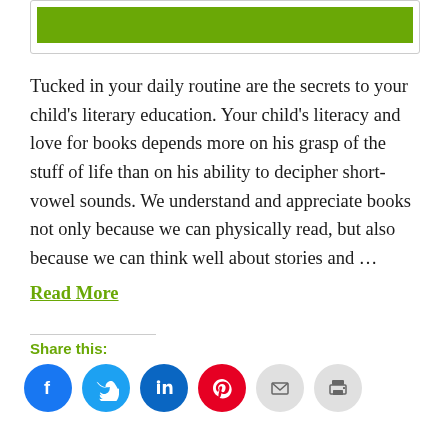[Figure (other): Green banner/image placeholder at top of article card]
Tucked in your daily routine are the secrets to your child’s literary education. Your child’s literacy and love for books depends more on his grasp of the stuff of life than on his ability to decipher short-vowel sounds. We understand and appreciate books not only because we can physically read, but also because we can think well about stories and …
Read More
Share this:
[Figure (illustration): Row of social share icon buttons: Facebook, Twitter, LinkedIn, Pinterest, Email, Print]